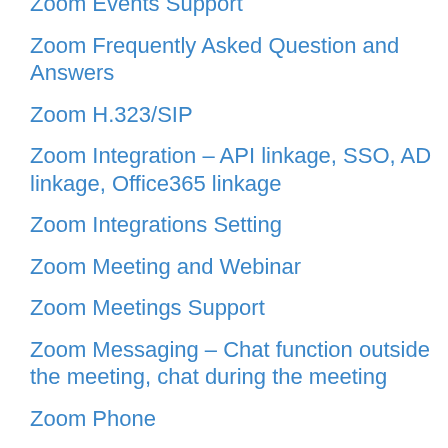Zoom Events Support
Zoom Frequently Asked Question and Answers
Zoom H.323/SIP
Zoom Integration – API linkage, SSO, AD linkage, Office365 linkage
Zoom Integrations Setting
Zoom Meeting and Webinar
Zoom Meetings Support
Zoom Messaging – Chat function outside the meeting, chat during the meeting
Zoom Phone
Zoom Phone System Support
Zoom Recommended hardware
Zoom Resource Hardware for...